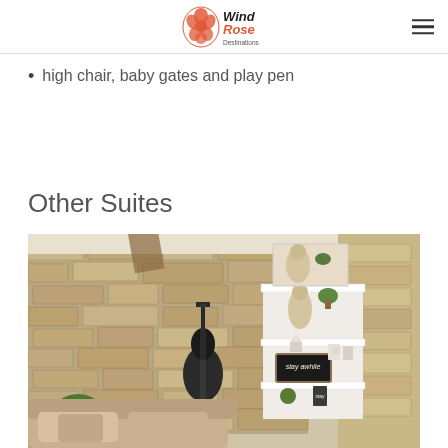Wind Rose Destinations
high chair, baby gates and play pen
Other Suites
[Figure (photo): Interior room photo showing rustic stone walls, a guitar leaning against the wall, white shelving unit with decorative items including plants, a statue bust, a blackboard sign reading 'stay awhile', and a couch in the foreground.]